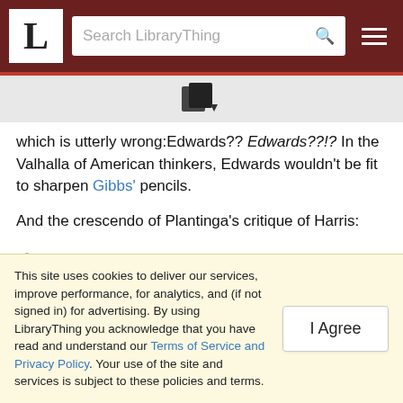LibraryThing — Search LibraryThing
[Figure (logo): LibraryThing book/document icon with dropdown arrow]
which is utterly wrong:Edwards?? Edwards??!? In the Valhalla of American thinkers, Edwards wouldn't be fit to sharpen Gibbs' pencils.
And the crescendo of Plantinga's critique of Harris:
First, if God is the real cause of everything, then he is also the real cause of sin; he is the real cause of every sinful action. But Christians have for the most part strenuously
This site uses cookies to deliver our services, improve performance, for analytics, and (if not signed in) for advertising. By using LibraryThing you acknowledge that you have read and understand our Terms of Service and Privacy Policy. Your use of the site and services is subject to these policies and terms.